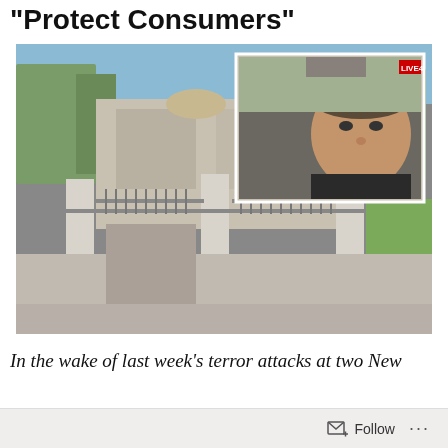"Protect Consumers"
[Figure (photo): Outdoor photo of a mosque exterior with iron gate and concrete pillars, trees in background, with an inset photo showing a man's face from a live stream with 'LIVE4' badge in top right corner]
In the wake of last week's terror attacks at two New
Follow ...